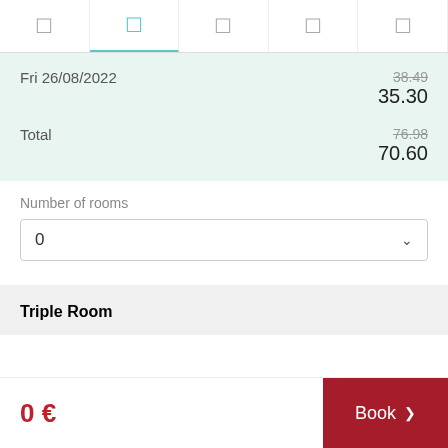[Figure (screenshot): Navigation tab bar with 5 icon tabs, second tab active in teal color]
| Date | Price (old) | Price (new) |
| --- | --- | --- |
| Fri 26/08/2022 | 38.49 | 35.30 |
| Total | 76.98 | 70.60 |
Number of rooms
0
Triple Room
0 €
Book